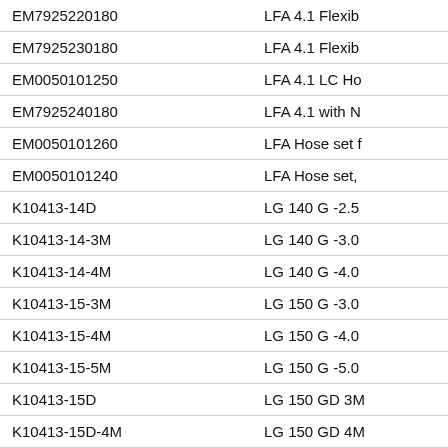| Part Number | Description |
| --- | --- |
| EM7925220180 | LFA 4.1 Flexib |
| EM7925230180 | LFA 4.1 Flexib |
| EM0050101250 | LFA 4.1 LC Ho |
| EM7925240180 | LFA 4.1 with N |
| EM0050101260 | LFA Hose set f |
| EM0050101240 | LFA Hose set, |
| K10413-14D | LG 140 G -2.5 |
| K10413-14-3M | LG 140 G -3.0 |
| K10413-14-4M | LG 140 G -4.0 |
| K10413-15-3M | LG 150 G -3.0 |
| K10413-15-4M | LG 150 G -4.0 |
| K10413-15-5M | LG 150 G -5.0 |
| K10413-15D | LG 150 GD 3M |
| K10413-15D-4M | LG 150 GD 4M |
| K10413-15E-3M | LG 150 G-E 3m |
| K10413-15E-4M | LG 150 G-E 4m |
| K10413-15E-5M | LG 150 G-E 5m |
| K10413-15FX-3M | LG 150 G-FX-3 |
| K10413-15FX-4M | LG 150 G-FX-4 |
| K10413-15FX-5M | LG 150 G-FX-5 |
| K10413-24-3M-STT | LG 240 3M Mi |
| K10413-24-4M-STT | LG 240 4M Mi |
| K10413-24-3M | LG 240 G -3.0m |